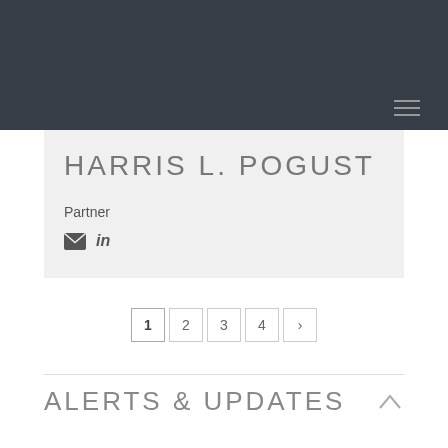HARRIS L. POGUST
Partner
email linkedin
1 2 3 4 >
ALERTS & UPDATES